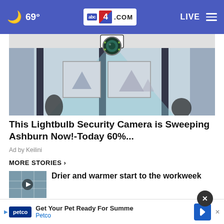69° abc4.com LIVE
[Figure (photo): Advertisement photo of a lightbulb security camera mounted on ceiling with triangular field-of-view cone showing room interior with vertical panels and framed artwork]
This Lightbulb Security Camera is Sweeping Ashburn Now!-Today 60%...
Ad by Keilini
MORE STORIES ›
Drier and warmer start to the workweek
'Forever chemicals' taint all of Earth's
[Figure (screenshot): Bottom ad banner for Petco: Get Your Pet Ready For Summer - Petco with navigation arrow icon]